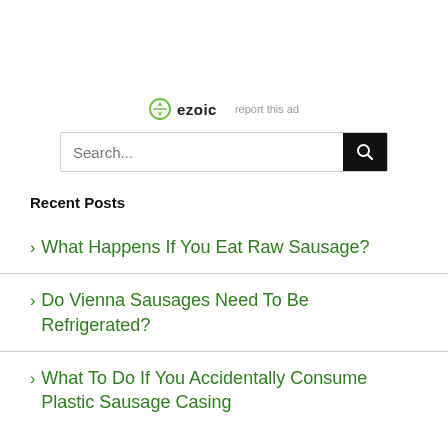[Figure (logo): Ezoic logo with circular icon and text 'ezoic', with 'report this ad' link to the right]
Search...
Recent Posts
What Happens If You Eat Raw Sausage?
Do Vienna Sausages Need To Be Refrigerated?
What To Do If You Accidentally Consume Plastic Sausage Casing